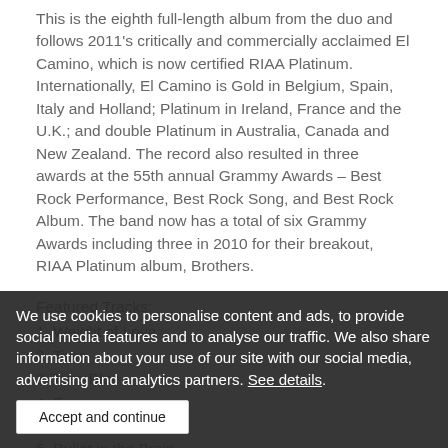This is the eighth full-length album from the duo and follows 2011's critically and commercially acclaimed El Camino, which is now certified RIAA Platinum. Internationally, El Camino is Gold in Belgium, Spain, Italy and Holland; Platinum in Ireland, France and the U.K.; and double Platinum in Australia, Canada and New Zealand. The record also resulted in three awards at the 55th annual Grammy Awards – Best Rock Performance, Best Rock Song, and Best Rock Album. The band now has a total of six Grammy Awards including three in 2010 for their breakout, RIAA Platinum album, Brothers.
Featured Tracks:
1. Weight of Love
2. Time
3. Turn Blue
4. Fever
5. Year in Review
6. Bullet in the Brain
7. It's Up to You Now
8.
9. 10 Lovers
We use cookies to personalise content and ads, to provide social media features and to analyse our traffic. We also share information about your use of our site with our social media, advertising and analytics partners. See details.